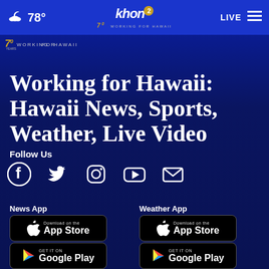78° khon2 WORKING FOR HAWAII LIVE
[Figure (logo): KHON2 Working for Hawaii 70 years logo]
Working for Hawaii: Hawaii News, Sports, Weather, Live Video
Follow Us
[Figure (infographic): Social media icons: Facebook, Twitter, Instagram, YouTube, Email]
News App
Weather App
[Figure (infographic): Download on the App Store button (News App)]
[Figure (infographic): GET IT ON Google Play button (News App)]
[Figure (infographic): Download on the App Store button (Weather App)]
[Figure (infographic): GET IT ON Google Play button (Weather App)]